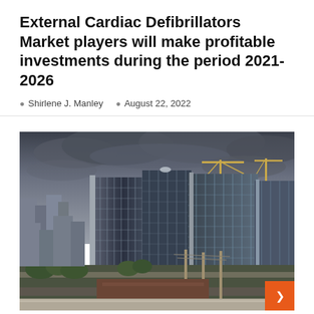External Cardiac Defibrillators Market players will make profitable investments during the period 2021-2026
Shirlene J. Manley   August 22, 2022
[Figure (photo): Aerial/elevated view of a city skyline featuring large modern glass and concrete high-rise buildings under a dramatic cloudy sky, with urban infrastructure, trees, and smaller buildings visible in the foreground and background.]